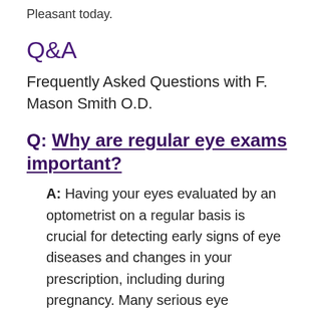Pleasant today.
Q&A
Frequently Asked Questions with F. Mason Smith O.D.
Q: Why are regular eye exams important?
A: Having your eyes evaluated by an optometrist on a regular basis is crucial for detecting early signs of eye diseases and changes in your prescription, including during pregnancy. Many serious eye diseases don't cause any noticeable symptoms until they've progressed to late stages, when damage to vision may be irreversible. Whether you are young or...